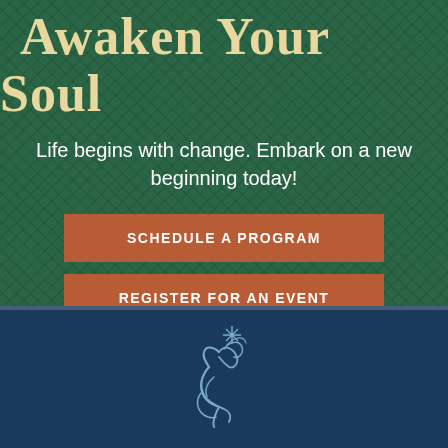Awaken Your Soul
Life begins with change. Embark on a new beginning today!
SCHEDULE A PROGRAM
REGISTER FOR AN EVENT
[Figure (logo): Stylized illustration of a figure with flowing hair and a star above, in light blue on dark navy background, serving as a spiritual/wellness brand logo]